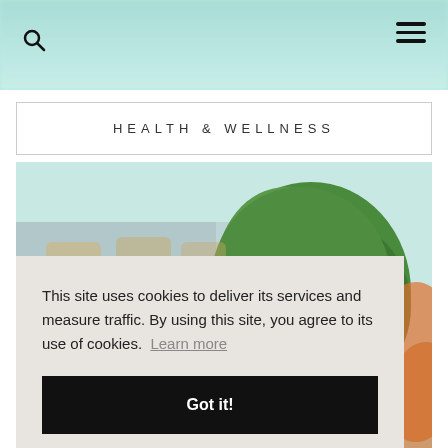HEALTH & WELLNESS
[Figure (photo): Outdoor scene with a green tree, architectural elements, and blurred patio furniture in the background; partially visible person at the bottom]
This site uses cookies to deliver its services and measure traffic. By using this site, you agree to its use of cookies. Learn more
Got it!